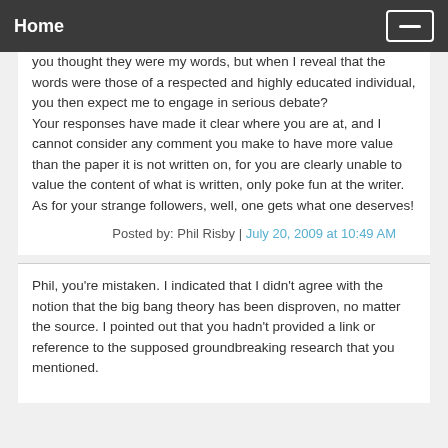Home
you thought they were my words, but when I reveal that the words were those of a respected and highly educated individual, you then expect me to engage in serious debate?
Your responses have made it clear where you are at, and I cannot consider any comment you make to have more value than the paper it is not written on, for you are clearly unable to value the content of what is written, only poke fun at the writer. As for your strange followers, well, one gets what one deserves!
Posted by: Phil Risby | July 20, 2009 at 10:49 AM
Phil, you're mistaken. I indicated that I didn't agree with the notion that the big bang theory has been disproven, no matter the source. I pointed out that you hadn't provided a link or reference to the supposed groundbreaking research that you mentioned.